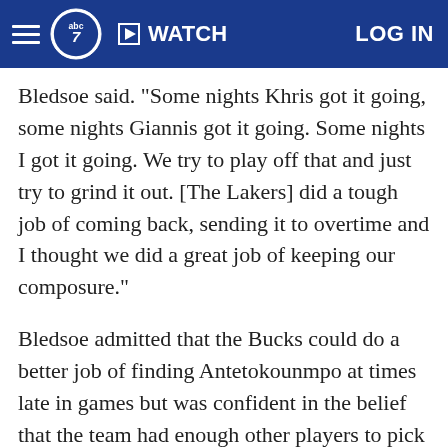ABC7 navigation bar with hamburger menu, ABC7 logo, WATCH button, and LOG IN link
Bledsoe said. "Some nights Khris got it going, some nights Giannis got it going. Some nights I got it going. We try to play off that and just try to grind it out. [The Lakers] did a tough job of coming back, sending it to overtime and I thought we did a great job of keeping our composure."
Bledsoe admitted that the Bucks could do a better job of finding Antetokounmpo at times late in games but was confident in the belief that the team had enough other players to pick up the slack some nights. As Frank Maddenof SB Nation's Bucks blog Brew Hoop pointed out, the Bucks earned their first win of the season when Antetokounmpo was a negative plus/minus player, which makes them 1-26 now on